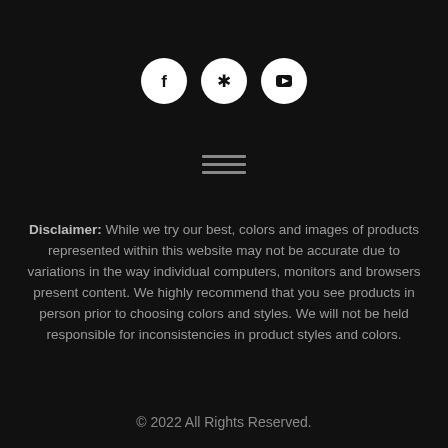[Figure (other): Three social media icons in white circles on dark background: Facebook (f), Yelp (asterisk/star), YouTube (play button)]
[Figure (other): Hamburger menu icon — three horizontal grey lines]
Disclaimer: While we try our best, colors and images of products represented within this website may not be accurate due to variations in the way individual computers, monitors and browsers present content. We highly recommend that you see products in person prior to choosing colors and styles. We will not be held responsible for inconsistencies in product styles and colors.
© 2022 All Rights Reserved.